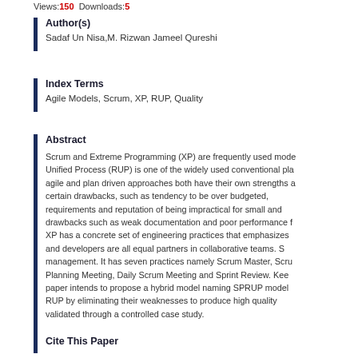Views:150  Downloads:5
Author(s)
Sadaf Un Nisa,M. Rizwan Jameel Qureshi
Index Terms
Agile Models, Scrum, XP, RUP, Quality
Abstract
Scrum and Extreme Programming (XP) are frequently used models. Unified Process (RUP) is one of the widely used conventional plan driven approaches. Both agile and plan driven approaches both have their own strengths and certain drawbacks, such as tendency to be over budgeted, requirements and reputation of being impractical for small and drawbacks such as weak documentation and poor performance for XP has a concrete set of engineering practices that emphasizes and developers are all equal partners in collaborative teams. management. It has seven practices namely Scrum Master, Scrum Planning Meeting, Daily Scrum Meeting and Sprint Review. Keeping paper intends to propose a hybrid model naming SPRUP model. RUP by eliminating their weaknesses to produce high quality validated through a controlled case study.
Cite This Paper